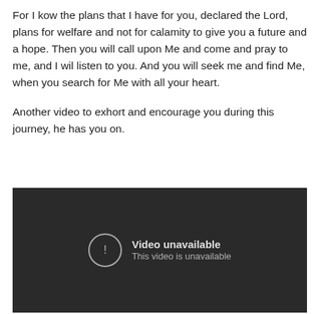For I kow the plans that I have for you, declared the Lord, plans for welfare and not for calamity to give you a future and a hope. Then you will call upon Me and come and pray to me, and I wil listen to you. And you will seek me and find Me, when you search for Me with all your heart.
Another video to exhort and encourage you during this journey, he has you on.
[Figure (screenshot): Embedded video player showing 'Video unavailable' message with exclamation icon. Text reads: 'Video unavailable / This video is unavailable' on a dark background.]